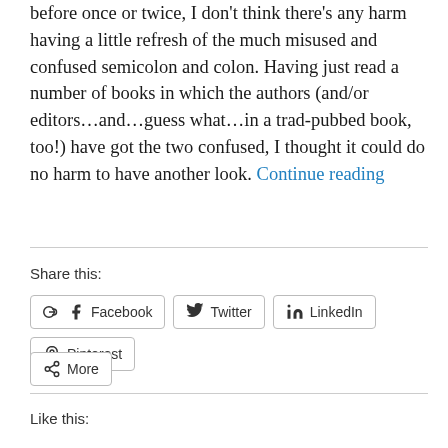before once or twice, I don't think there's any harm having a little refresh of the much misused and confused semicolon and colon. Having just read a number of books in which the authors (and/or editors…and…guess what…in a trad-pubbed book, too!) have got the two confused, I thought it could do no harm to have another look. Continue reading
Share this:
Facebook  Twitter  LinkedIn  Pinterest
More
Like this: